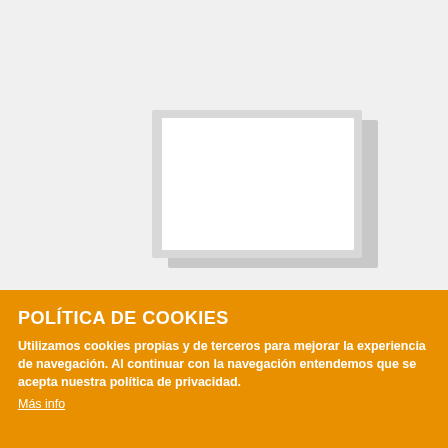[Figure (illustration): A placeholder image graphic showing a white rectangular frame/screen with a light gray border and a subtle shadow, centered on a light gray background]
POLÍTICA DE COOKIES
Utilizamos cookies propias y de terceros para mejorar la experiencia de navegación. Al continuar con la navegación entendemos que se acepta nuestra política de privacidad.
Más info